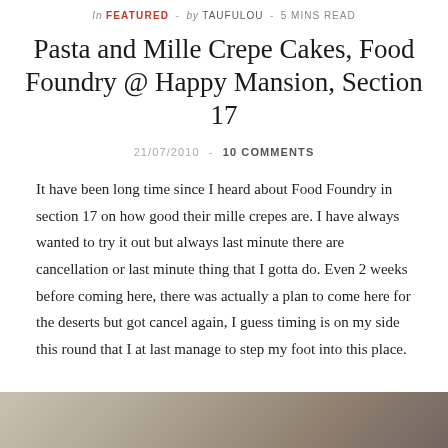In FEATURED - by TAUFULOU - 5 MINS READ
Pasta and Mille Crepe Cakes, Food Foundry @ Happy Mansion, Section 17
21/07/2010 - 10 COMMENTS
It have been long time since I heard about Food Foundry in section 17 on how good their mille crepes are. I have always wanted to try it out but always last minute there are cancellation or last minute thing that I gotta do. Even 2 weeks before coming here, there was actually a plan to come here for the deserts but got cancel again, I guess timing is on my side this round that I at last manage to step my foot into this place.
[Figure (photo): Bottom strip of a photo showing interior or food at Food Foundry restaurant]